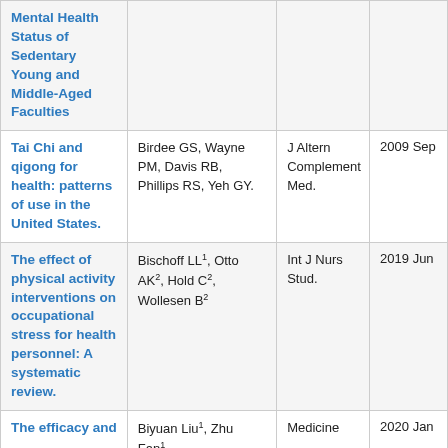| Title | Authors | Journal | Date |
| --- | --- | --- | --- |
| Mental Health Status of Sedentary Young and Middle-Aged Faculties |  |  |  |
| Tai Chi and qigong for health: patterns of use in the United States. | Birdee GS, Wayne PM, Davis RB, Phillips RS, Yeh GY. | J Altern Complement Med. | 2009 Sep |
| The effect of physical activity interventions on occupational stress for health personnel: A systematic review. | Bischoff LL1, Otto AK2, Hold C2, Wollesen B2 | Int J Nurs Stud. | 2019 Jun |
| The efficacy and | Biyuan Liu1, Zhu Fan1, | Medicine | 2020 Jan |